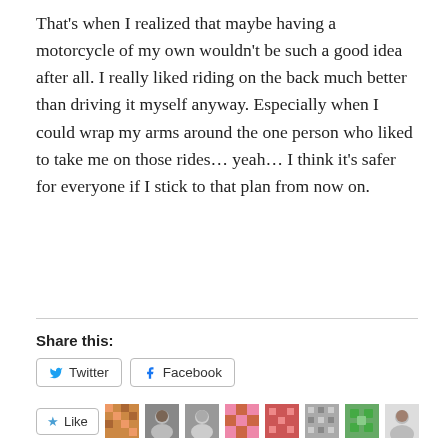That's when I realized that maybe having a motorcycle of my own wouldn't be such a good idea after all. I really liked riding on the back much better than driving it myself anyway. Especially when I could wrap my arms around the one person who liked to take me on those rides… yeah… I think it's safer for everyone if I stick to that plan from now on.
Share this:
[Figure (screenshot): Share buttons: Twitter and Facebook buttons, a Like button with a star icon, and a row of user avatar images]